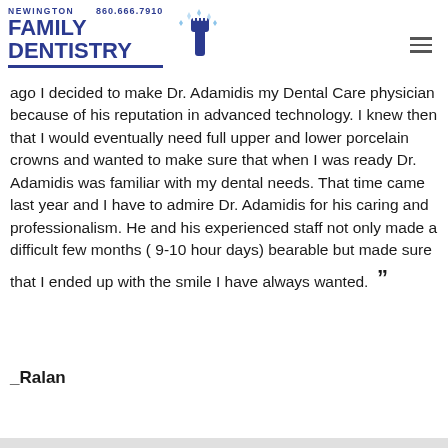[Figure (logo): Newington Family Dentistry logo with toothbrush graphic and phone number 860.666.7910]
ago I decided to make Dr. Adamidis my Dental Care physician because of his reputation in advanced technology. I knew then that I would eventually need full upper and lower porcelain crowns and wanted to make sure that when I was ready Dr. Adamidis was familiar with my dental needs. That time came last year and I have to admire Dr. Adamidis for his caring and professionalism. He and his experienced staff not only made a difficult few months ( 9-10 hour days) bearable but made sure that I ended up with the smile I have always wanted. ”
_Ralan